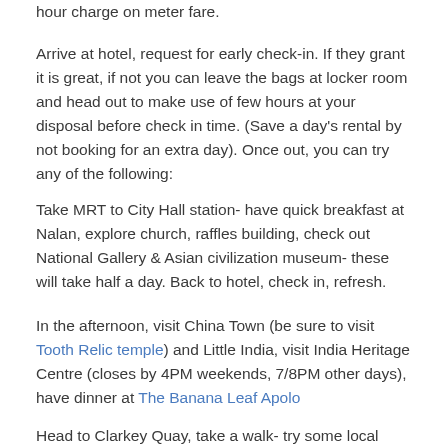hour charge on meter fare.
Arrive at hotel, request for early check-in. If they grant it is great, if not you can leave the bags at locker room and head out to make use of few hours at your disposal before check in time. (Save a day's rental by not booking for an extra day). Once out, you can try any of the following:
Take MRT to City Hall station- have quick breakfast at Nalan, explore church, raffles building, check out National Gallery & Asian civilization museum- these will take half a day. Back to hotel, check in, refresh.
In the afternoon, visit China Town (be sure to visit Tooth Relic temple) and Little India, visit India Heritage Centre (closes by 4PM weekends, 7/8PM other days), have dinner at The Banana Leaf Apolo
Head to Clarkey Quay, take a walk- try some local food